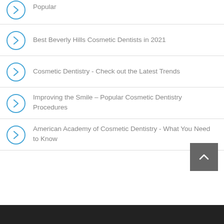Popular
Best Beverly Hills Cosmetic Dentists in 2021
Cosmetic Dentistry - Check out the Latest Trends
Improving the Smile – Popular Cosmetic Dentistry Procedures
American Academy of Cosmetic Dentistry - What You Need to Know